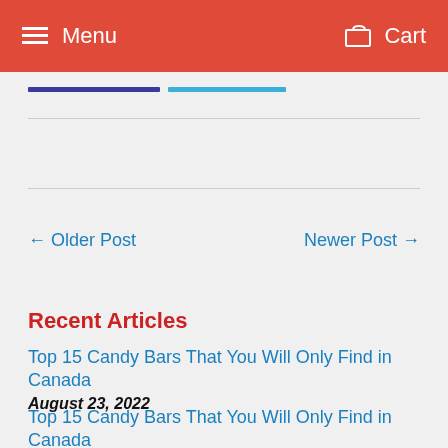Menu   Cart
← Older Post   Newer Post →
Recent Articles
Top 15 Candy Bars That You Will Only Find in Canada
August 23, 2022
Top 15 Candy Bars That You Will Only Find in Canada
August 23, 2022
Maximize Profits by Expanding Your Candy Department